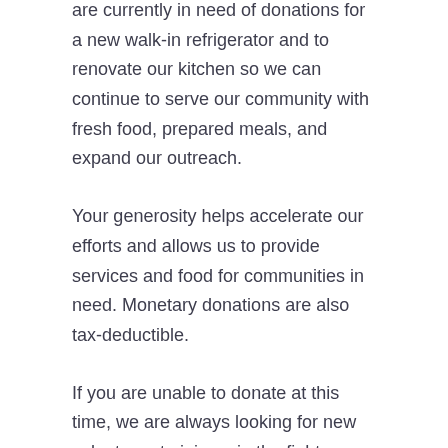are currently in need of donations for a new walk-in refrigerator and to renovate our kitchen so we can continue to serve our community with fresh food, prepared meals, and expand our outreach.
Your generosity helps accelerate our efforts and allows us to provide services and food for communities in need. Monetary donations are also tax-deductible.
If you are unable to donate at this time, we are always looking for new volunteers to join us in the fight against poverty! Please contact admin@miraclefoodnetwork.org if interested.
Thank you,